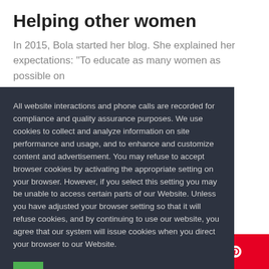Helping other women
In 2015, Bola started her blog. She explained her expectations: “To educate as many women as possible on [topics to] make well [informed decisions to] achieve financial [independence]. Women [are affected] rently than men. [investing means] hich means they [need specific] knowledge and [can achieve] erally better [outcomes]. [helping] omen with [providing] d tools to [achieve fin] ancial [goals].
All website interactions and phone calls are recorded for compliance and quality assurance purposes. We use cookies to collect and analyze information on site performance and usage, and to enhance and customize content and advertisement. You may refuse to accept browser cookies by activating the appropriate setting on your browser. However, if you select this setting you may be unable to access certain parts of our Website. Unless you have adjusted your browser setting so that it will refuse cookies, and by continuing to use our website, you agree that our system will issue cookies when you direct your browser to our Website.
284 (Facebook shares)